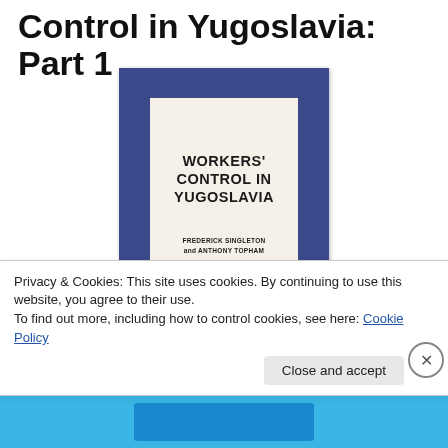Control in Yugoslavia: Part 1
[Figure (photo): Book cover of 'Workers' Control in Yugoslavia' by Frederick Singleton and Anthony Topham, with dark blue border and cream/off-white center panel showing bold black title text and author names in smaller text below.]
Privacy & Cookies: This site uses cookies. By continuing to use this website, you agree to their use.
To find out more, including how to control cookies, see here: Cookie Policy
Close and accept